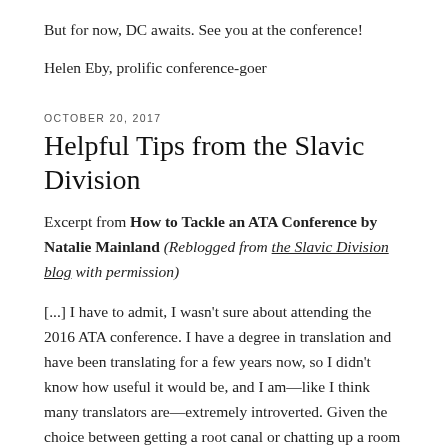But for now, DC awaits. See you at the conference!
Helen Eby, prolific conference-goer
OCTOBER 20, 2017
Helpful Tips from the Slavic Division
Excerpt from How to Tackle an ATA Conference by Natalie Mainland (Reblogged from the Slavic Division blog with permission)
[...] I have to admit, I wasn't sure about attending the 2016 ATA conference. I have a degree in translation and have been translating for a few years now, so I didn't know how useful it would be, and I am—like I think many translators are—extremely introverted. Given the choice between getting a root canal or chatting up a room full of